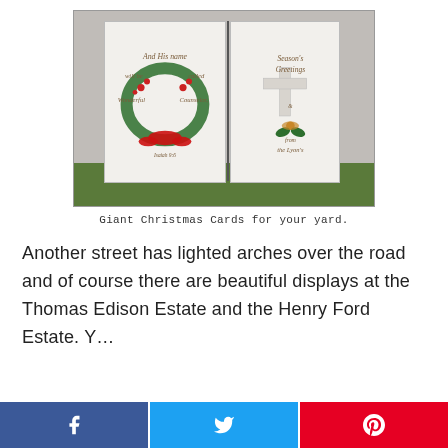[Figure (photo): A photograph of two large white boards in a yard displaying painted Christmas card designs. The left board shows a holly wreath with red bow and text 'And His name will be Wonderful Counselor, Isaiah 9:6'. The right board shows a cross with holly and text 'Season's Greetings from the Lyon's'.]
Giant Christmas Cards for your yard.
Another street has lighted arches over the road and of course there are beautiful displays at the Thomas Edison Estate and the Henry Ford Estate. Y...